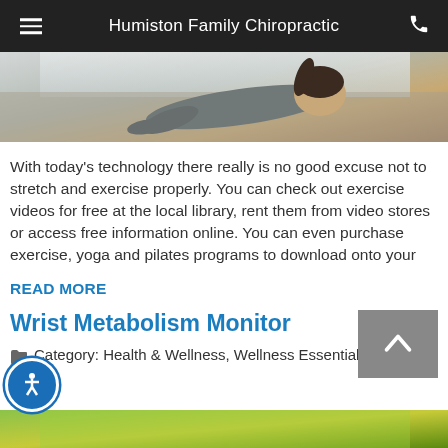Humiston Family Chiropractic
[Figure (photo): Person performing a plank or stretching exercise on the floor, viewed from behind at an angle]
With today's technology there really is no good excuse not to stretch and exercise properly. You can check out exercise videos for free at the local library, rent them from video stores or access free information online. You can even purchase exercise, yoga and pilates programs to download onto your
READ MORE
Wrist Metabolism Monitor
Category: Health & Wellness, Wellness Essentials, Exercise
[Figure (photo): Bottom strip showing a green/yellow background, partial image of next article]